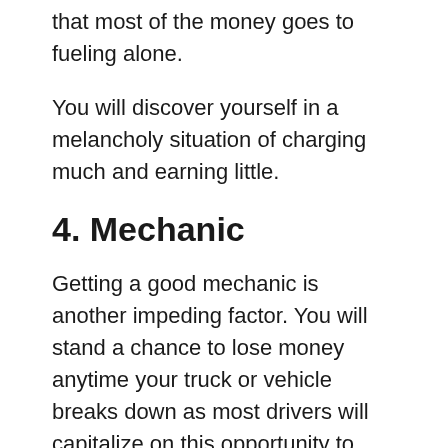that most of the money goes to fueling alone.
You will discover yourself in a melancholy situation of charging much and earning little.
4. Mechanic
Getting a good mechanic is another impeding factor. You will stand a chance to lose money anytime your truck or vehicle breaks down as most drivers will capitalize on this opportunity to extort money from you.
And in most cases, trucks may break down in a far bus where getting a mechanic will not be easy.